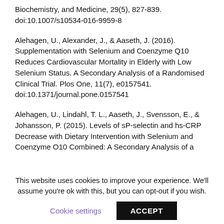Biochemistry, and Medicine, 29(5), 827-839. doi:10.1007/s10534-016-9959-8
Alehagen, U., Alexander, J., & Aaseth, J. (2016). Supplementation with Selenium and Coenzyme Q10 Reduces Cardiovascular Mortality in Elderly with Low Selenium Status. A Secondary Analysis of a Randomised Clinical Trial. Plos One, 11(7), e0157541. doi:10.1371/journal.pone.0157541
Alehagen, U., Lindahl, T. L., Aaseth, J., Svensson, E., & Johansson, P. (2015). Levels of sP-selectin and hs-CRP Decrease with Dietary Intervention with Selenium and Coenzyme O10 Combined: A Secondary Analysis of a
This website uses cookies to improve your experience. We'll assume you're ok with this, but you can opt-out if you wish.